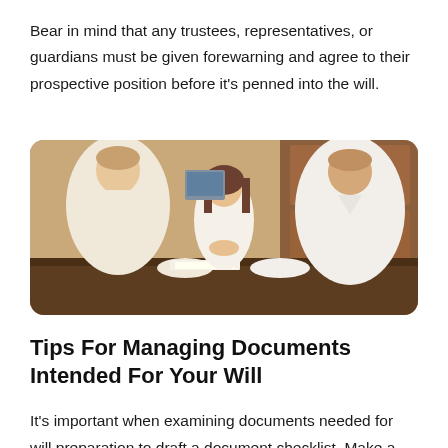Bear in mind that any trustees, representatives, or guardians must be given forewarning and agree to their prospective position before it's penned into the will.
[Figure (photo): A woman and a man sitting at a table with a young girl between them, reviewing documents together in what appears to be a family legal consultation setting.]
Tips For Managing Documents Intended For Your Will
It's important when examining documents needed for will preparation to draft a document checklist. Make a note of each document we've discussed in this article, and create a